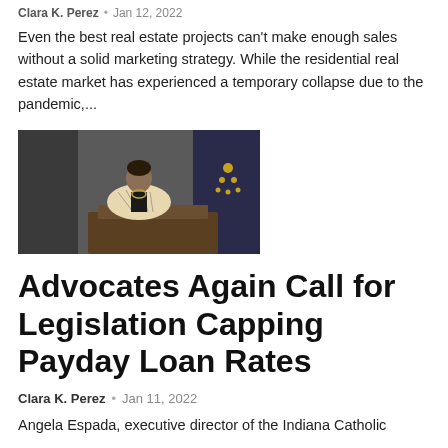Clara K. Perez • Jan 12, 2022
Even the best real estate projects can't make enough sales without a solid marketing strategy. While the residential real estate market has experienced a temporary collapse due to the pandemic,...
[Figure (photo): A woman speaking at a podium with an Indiana state flag in the background]
Advocates Again Call for Legislation Capping Payday Loan Rates
Clara K. Perez • Jan 11, 2022
Angela Espada, executive director of the Indiana Catholic